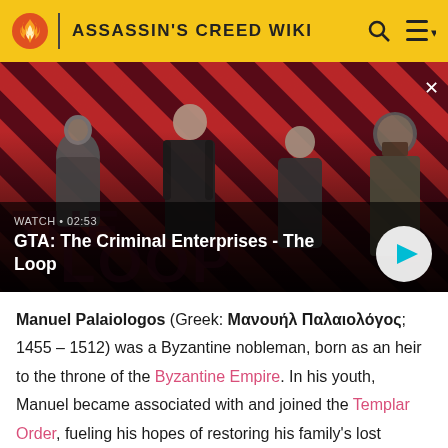ASSASSIN'S CREED WIKI
[Figure (screenshot): Video thumbnail showing four characters from GTA: The Criminal Enterprises - The Loop, on a red and black diagonal stripe background. Overlay shows watch label WATCH • 02:53 and video title. A circular play button is visible on the right.]
Manuel Palaiologos (Greek: Μανουήλ Παλαιολόγος; 1455 – 1512) was a Byzantine nobleman, born as an heir to the throne of the Byzantine Empire. In his youth, Manuel became associated with and joined the Templar Order, fueling his hopes of restoring his family's lost empire.